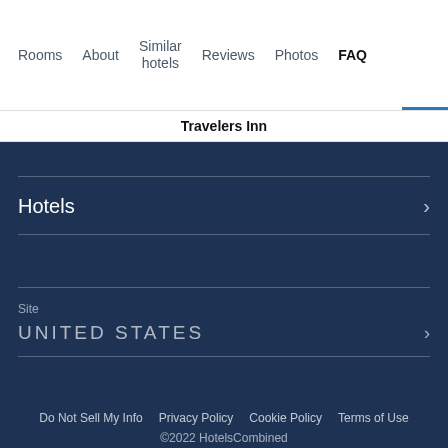Rooms  About  Similar hotels  Reviews  Photos  FAQ
Travelers Inn
Hotels
Site
UNITED STATES
Do Not Sell My Info   Privacy Policy   Cookie Policy   Terms of Use
©2022 HotelsCombined